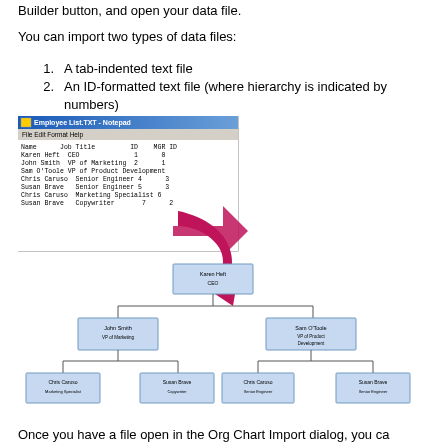Builder button, and open your data file.
You can import two types of data files:
A tab-indented text file
An ID-formatted text file (where hierarchy is indicated by numbers)
[Figure (screenshot): Notepad window showing Employee List.TXT with columns Name, Job Title, ID, MGR ID and sample data rows; below it an arrow pointing to an org chart with Karen Heft (CEO) at top, John Smith (VP of Marketing) and Sam O'Toole (VP of Product Development) below, and Chris Caruso (Marketing Specialist), Susan Brave (Copywriter), Chris Caruso (Senior Engineer), Susan Brave (Senior Engineer) at the bottom level.]
Once you have a file open in the Org Chart Import dialog, you ca